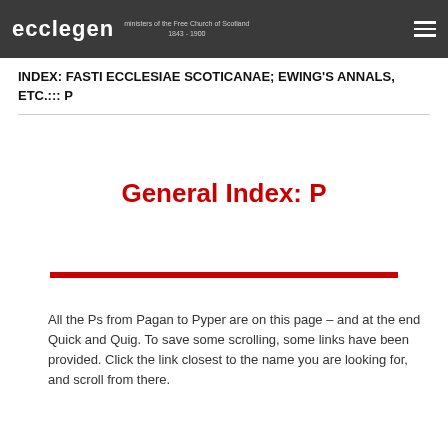ecclegen — ministers of the Free Church of Scotland 1843 - 1900
INDEX: FASTI ECCLESIAE SCOTICANAE; EWING'S ANNALS, ETC.::: P
General Index: P
All the Ps from Pagan to Pyper are on this page – and at the end Quick and Quig. To save some scrolling, some links have been provided. Click the link closest to the name you are looking for, and scroll from there.